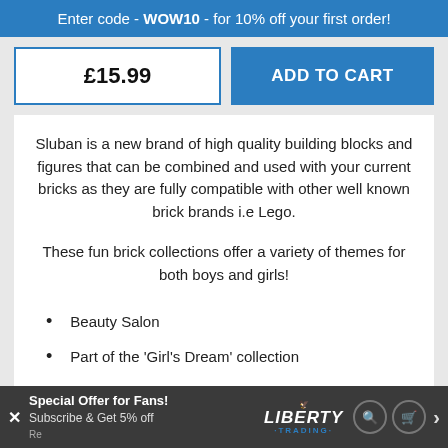Enter code - WOW10 - for 10% off your first order!
£15.99
ADD TO CART
Sluban is a new brand of high quality building blocks and figures that can be combined and used with your current bricks as they are fully compatible with other well known brick brands i.e Lego.
These fun brick collections offer a variety of themes for both boys and girls!
Beauty Salon
Part of the 'Girl's Dream' collection
Model Number: M38-B0526
Special Offer for Fans! Subscribe & Get 5% off. LIBERTY TRADING